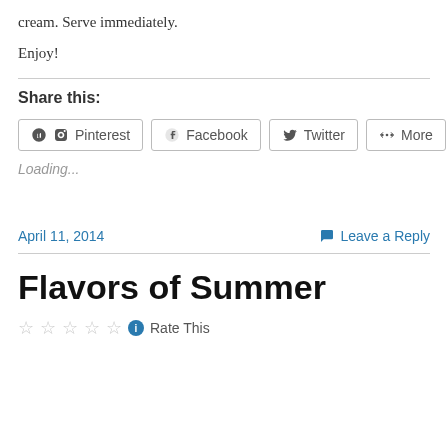cream. Serve immediately.
Enjoy!
Share this:
Pinterest  Facebook  Twitter  More
Loading...
April 11, 2014
Leave a Reply
Flavors of Summer
Rate This